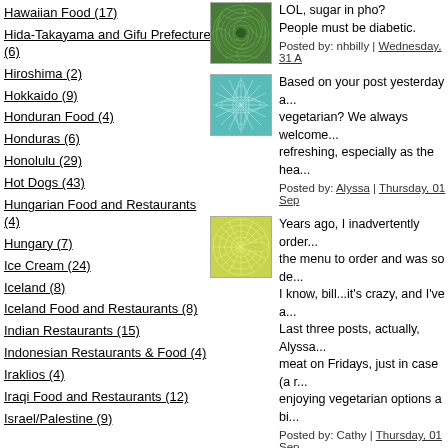Hawaiian Food (17)
Hida-Takayama and Gifu Prefecture (6)
Hiroshima (2)
Hokkaido (9)
Honduran Food (4)
Honduras (6)
Honolulu (29)
Hot Dogs (43)
Hungarian Food and Restaurants (4)
Hungary (7)
Ice Cream (24)
Iceland (8)
Iceland Food and Restaurants (8)
Indian Restaurants (15)
Indonesian Restaurants & Food (4)
Iraklios (4)
Iraqi Food and Restaurants (12)
Israel/Palestine (9)
[Figure (illustration): Green spiral fractal pattern avatar image]
LOL, sugar in pho? People must be diabetic.
Posted by: nhbilly | Wednesday, 31 A
[Figure (illustration): Teal/cyan leaf or feather pattern avatar image]
Based on your post yesterday a... vegetarian? We always welcome... refreshing, especially as the hea...
Posted by: Alyssa | Thursday, 01 Sep
[Figure (illustration): Yellow-green geometric sunburst pattern avatar image]
Years ago, I inadvertently order... the menu to order and was so de... I know, bill...it's crazy, and I've a... Last three posts, actually, Alyssa... meat on Fridays, just in case (a r... enjoying vegetarian options a bi...
Posted by: Cathy | Thursday, 01 Sep
[Figure (illustration): Green grid/lattice geometric pattern avatar image]
Sugar in pho??? Think I'll pass.